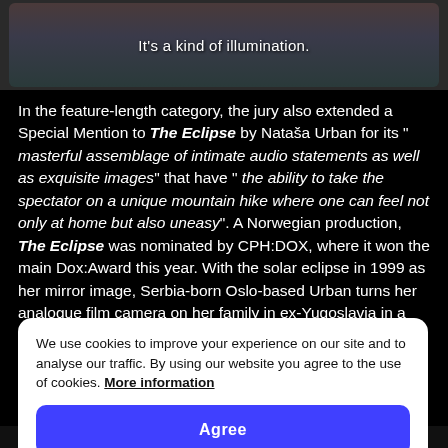[Figure (screenshot): A screenshot of a video player showing a person with subtitle text 'It’s a kind of illumination.']
In the feature-length category, the jury also extended a Special Mention to The Eclipse by Nataša Urban for its “ masterful assemblage of intimate audio statements as well as exquisite images” that have “ the ability to take the spectator on a unique mountain hike where one can feel not only at home but also uneasy”. A Norwegian production, The Eclipse was nominated by CPH:DOX, where it won the main Dox:Award this year. With the solar eclipse in 1999 as her mirror image, Serbia-born Oslo-based Urban turns her analogue film camera on her family in ex-Yugoslavia in a work that maps how a dark past remains
We use cookies to improve your experience on our site and to analyse our traffic. By using our website you agree to the use of cookies. More information
Agree